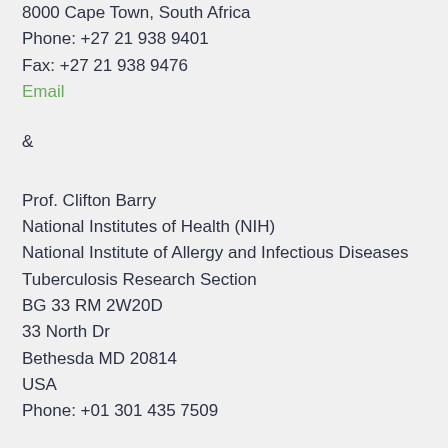8000 Cape Town, South Africa
Phone: +27 21 938 9401
Fax: +27 21 938 9476
Email
&
Prof. Clifton Barry
National Institutes of Health (NIH)
National Institute of Allergy and Infectious Diseases
Tuberculosis Research Section
BG 33 RM 2W20D
33 North Dr
Bethesda MD 20814
USA
Phone: +01 301 435 7509